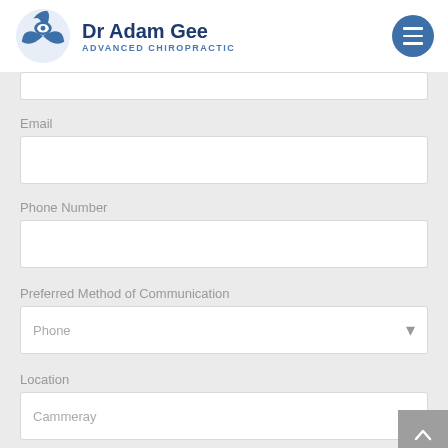Dr Adam Gee Advanced Chiropractic
Email
Phone Number
Preferred Method of Communication
Phone
Location
Cammeray